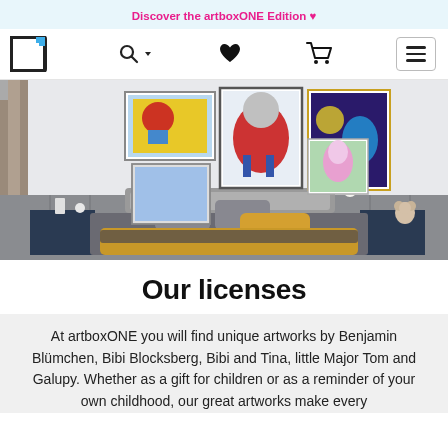Discover the artboxONE Edition ♥
[Figure (logo): artboxONE logo — square bracket icon with blue accent]
[Figure (screenshot): Navigation bar with search, heart/wishlist, cart, and hamburger menu icons]
[Figure (photo): Children's bedroom scene with colorful framed artworks on the wall including cartoon characters, a bed with yellow/gray bedding, and bedside tables]
Our licenses
At artboxONE you will find unique artworks by Benjamin Blümchen, Bibi Blocksberg, Bibi and Tina, little Major Tom and Galupy. Whether as a gift for children or as a reminder of your own childhood, our great artworks make every